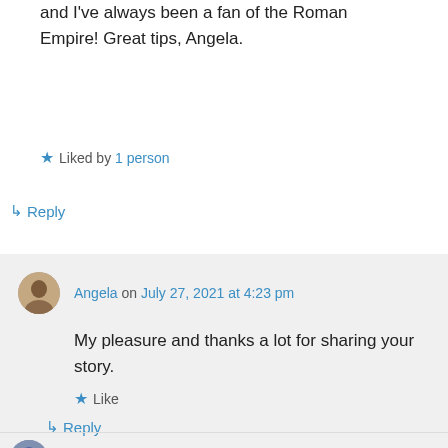and I've always been a fan of the Roman Empire! Great tips, Angela.
★ Liked by 1 person
↳ Reply
Angela on July 27, 2021 at 4:23 pm
My pleasure and thanks a lot for sharing your story.
★ Like
↳ Reply
kagould17 on July 27, 2021 at 7:51 pm